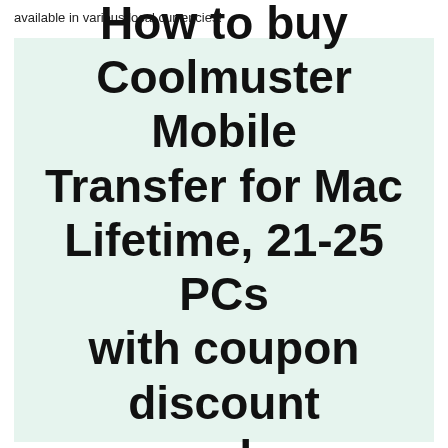available in various local currencies!
How to buy Coolmuster Mobile Transfer for Mac Lifetime, 21-25 PCs with coupon discount code